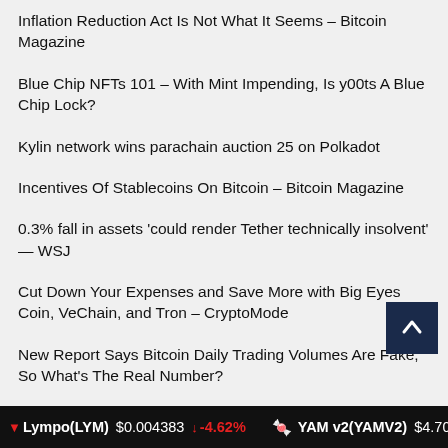Inflation Reduction Act Is Not What It Seems – Bitcoin Magazine
Blue Chip NFTs 101 – With Mint Impending, Is y00ts A Blue Chip Lock?
Kylin network wins parachain auction 25 on Polkadot
Incentives Of Stablecoins On Bitcoin – Bitcoin Magazine
0.3% fall in assets 'could render Tether technically insolvent' — WSJ
Cut Down Your Expenses and Save More with Big Eyes Coin, VeChain, and Tron – CryptoMode
New Report Says Bitcoin Daily Trading Volumes Are Fake, So What's The Real Number?
CME Adds Euro-Denominated Ethereum Futures as Merge Approaches
Lympo(LYM) $0.004383 ↓ -4.62%   YAM v2(YAMV2) $4.70 ↓ -1